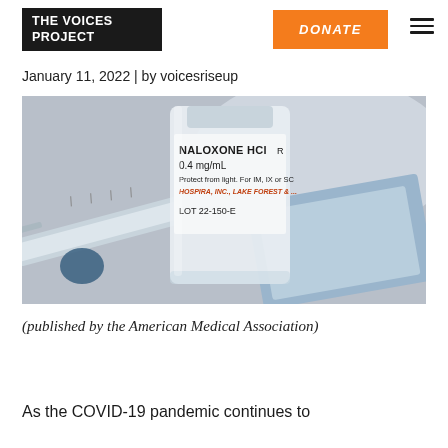THE VOICES PROJECT | DONATE
January 11, 2022 | by voicesriseup
[Figure (photo): Close-up photograph of a Naloxone HCl 0.4 mg/mL vial and a syringe. Label reads: NALOXONE HCl, 0.4 mg/mL, Protect from light. For IM, IX or SC, HOSPIRA, INC., LAKE FOREST, LOT 22-150-E]
(published by the American Medical Association)
As the COVID-19 pandemic continues to